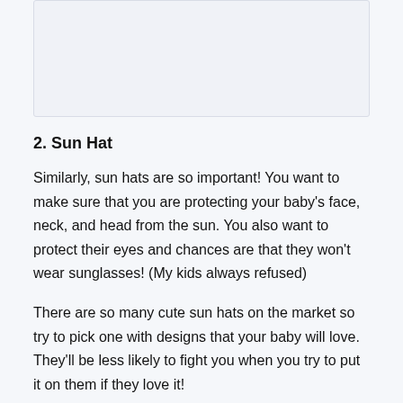[Figure (other): Image placeholder area at the top of the page]
2. Sun Hat
Similarly, sun hats are so important! You want to make sure that you are protecting your baby's face, neck, and head from the sun. You also want to protect their eyes and chances are that they won't wear sunglasses! (My kids always refused)
There are so many cute sun hats on the market so try to pick one with designs that your baby will love. They'll be less likely to fight you when you try to put it on them if they love it!